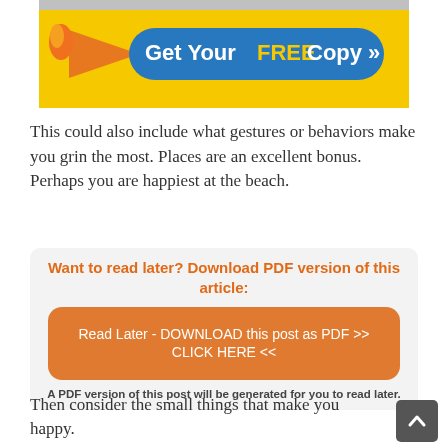[Figure (illustration): Yellow banner with orange arrow/flame graphic on left and blue pill-shaped button reading 'Get Your FREE Copy »' in white and yellow bold text]
This could also include what gestures or behaviors make you grin the most. Places are an excellent bonus. Perhaps you are happiest at the beach.
Want to read later? Download PDF version of this article:
Read Later - DOWNLOAD this post as PDF >> CLICK HERE <<
A PDF version of this post will be generated for you to read later.
Then consider the small things that make you happy.